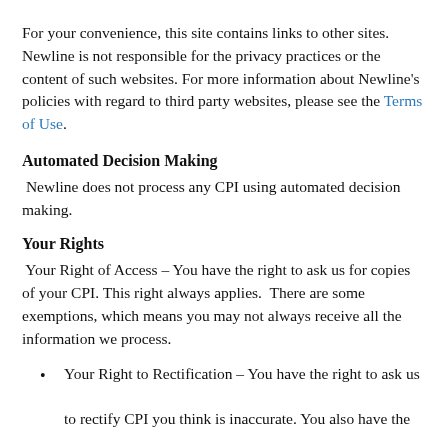For your convenience, this site contains links to other sites. Newline is not responsible for the privacy practices or the content of such websites. For more information about Newline's policies with regard to third party websites, please see the Terms of Use.
Automated Decision Making
Newline does not process any CPI using automated decision making.
Your Rights
Your Right of Access – You have the right to ask us for copies of your CPI. This right always applies. There are some exemptions, which means you may not always receive all the information we process.
Your Right to Rectification – You have the right to ask us to rectify CPI you think is inaccurate. You also have the right to ask us to complete information you think is